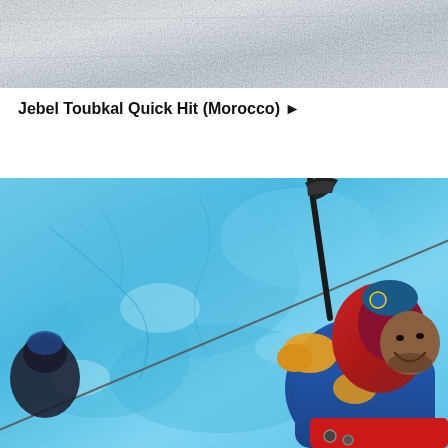[Figure (photo): Top portion of a snowy/icy mountain surface, light grey-blue tones, partial view cropped at top of page]
Jebel Toubkal Quick Hit (Morocco) ▶
[Figure (photo): Smiling mountaineer in red and blue winter gear holding an ice axe, with a bright blue glacial ice wall in the background and a rope line visible. Another climber partially visible on the left edge.]